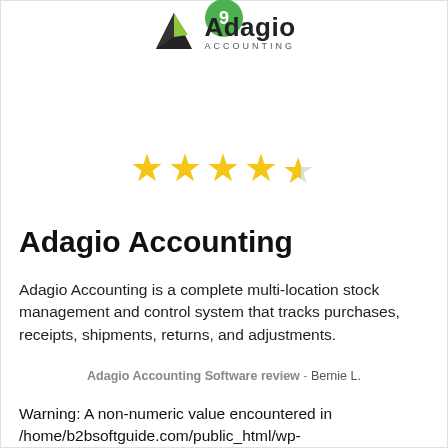[Figure (logo): Adagio Accounting logo with triangular black/green icon and text 'Adagio ACCOUNTING', with a green circular badge showing '9' at top]
[Figure (other): 4.5 star rating shown as 5 gold stars where the last star is partially filled]
Adagio Accounting
Adagio Accounting is a complete multi-location stock management and control system that tracks purchases, receipts, shipments, returns, and adjustments.
Adagio Accounting Software review - Bernie L.
Warning: A non-numeric value encountered in /home/b2bsoftguide.com/public_html/wp-